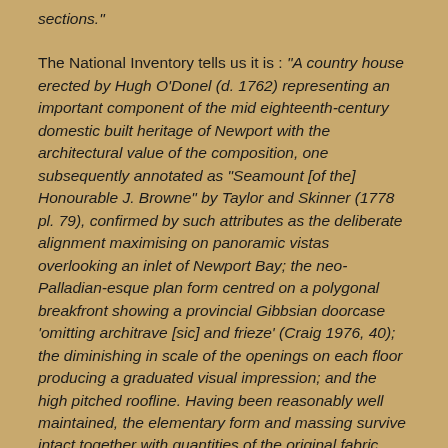sections."
The National Inventory tells us it is : "A country house erected by Hugh O'Donel (d. 1762) representing an important component of the mid eighteenth-century domestic built heritage of Newport with the architectural value of the composition, one subsequently annotated as "Seamount [of the] Honourable J. Browne" by Taylor and Skinner (1778 pl. 79), confirmed by such attributes as the deliberate alignment maximising on panoramic vistas overlooking an inlet of Newport Bay; the neo-Palladian-esque plan form centred on a polygonal breakfront showing a provincial Gibbsian doorcase 'omitting architrave [sic] and frieze' (Craig 1976, 40); the diminishing in scale of the openings on each floor producing a graduated visual impression; and the high pitched roofline. Having been reasonably well maintained, the elementary form and massing survive intact together with quantities of the original fabric, both